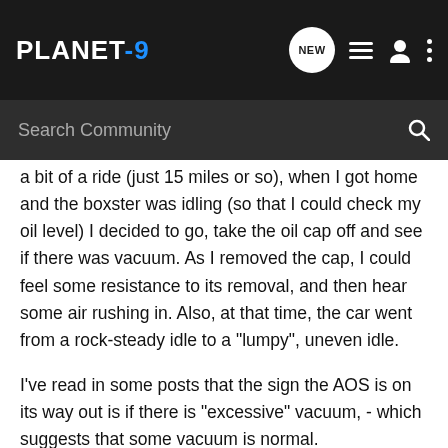PLANET-9 navigation bar with logo, NEW chat icon, list icon, user icon, and more options icon
Search Community
a bit of a ride (just 15 miles or so), when I got home and the boxster was idling (so that I could check my oil level) I decided to go, take the oil cap off and see if there was vacuum. As I removed the cap, I could feel some resistance to its removal, and then hear some air rushing in. Also, at that time, the car went from a rock-steady idle to a "lumpy", uneven idle.
I've read in some posts that the sign the AOS is on its way out is if there is "excessive" vacuum, - which suggests that some vacuum is normal.
Since I haven't had the car all that long, i don't know what may be a "normal" or "excessive" amount of crankcase vacuum. I can confirm that I do have some crankcase vacuum, and that when the cap is removed, it will result in unsteady idle.